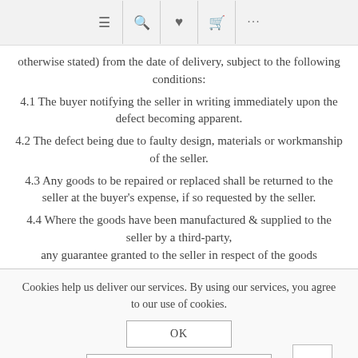≡ 🔍 ♥ 🛒 ...
otherwise stated) from the date of delivery, subject to the following conditions:
4.1 The buyer notifying the seller in writing immediately upon the defect becoming apparent.
4.2 The defect being due to faulty design, materials or workmanship of the seller.
4.3 Any goods to be repaired or replaced shall be returned to the seller at the buyer's expense, if so requested by the seller.
4.4 Where the goods have been manufactured & supplied to the seller by a third-party, any guarantee granted to the seller in respect of the goods
Cookies help us deliver our services. By using our services, you agree to our use of cookies.
OK
LEARN MORE